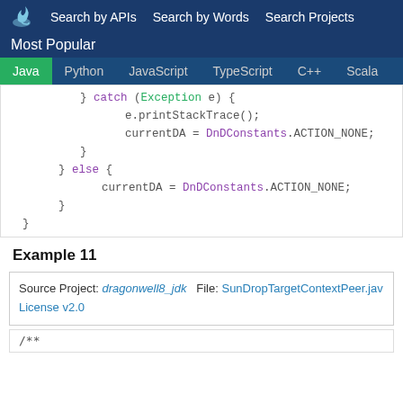Search by APIs  Search by Words  Search Projects
Most Popular
Java  Python  JavaScript  TypeScript  C++  Scala
[Figure (screenshot): Java code snippet showing catch block with e.printStackTrace() and currentDA = DnDConstants.ACTION_NONE; followed by else block with currentDA = DnDConstants.ACTION_NONE;]
Example 11
Source Project: dragonwell8_jdk  File: SunDropTargetContextPeer.java  License v2.0
/**